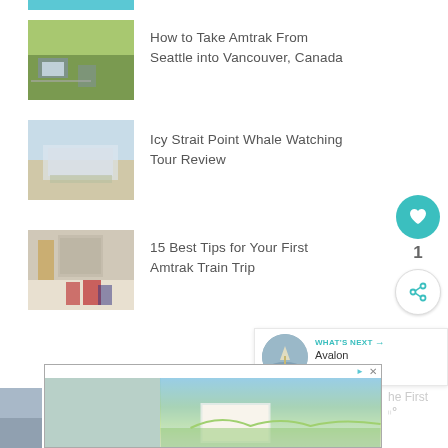[Figure (photo): Partial blue image at top]
[Figure (photo): Photo of a building with green hillside and road signs]
How to Take Amtrak From Seattle into Vancouver, Canada
[Figure (photo): Photo of a cruise ship near a dock with water]
Icy Strait Point Whale Watching Tour Review
[Figure (photo): Photo of a train station with columns and luggage]
15 Best Tips for Your First Amtrak Train Trip
[Figure (other): What's Next widget showing Avalon Waterways...]
[Figure (other): Advertisement banner with beach/resort image]